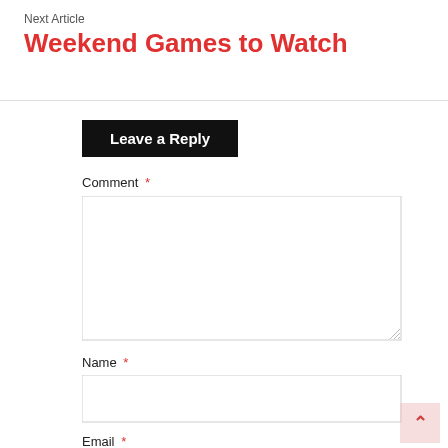Next Article
Weekend Games to Watch
Leave a Reply
Comment *
Name *
Email *